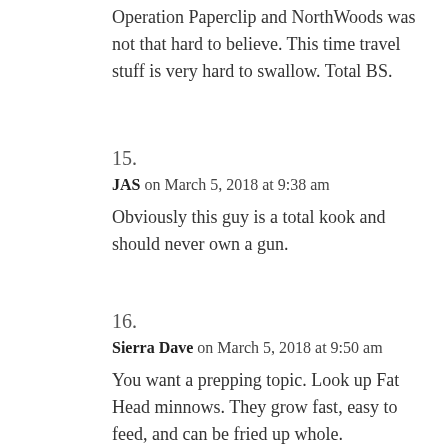Operation Paperclip and NorthWoods was not that hard to believe. This time travel stuff is very hard to swallow. Total BS.
15.
JAS on March 5, 2018 at 9:38 am
Obviously this guy is a total kook and should never own a gun.
16.
Sierra Dave on March 5, 2018 at 9:50 am
You want a prepping topic. Look up Fat Head minnows. They grow fast, easy to feed, and can be fried up whole.
All you need is a water container. They will breed and